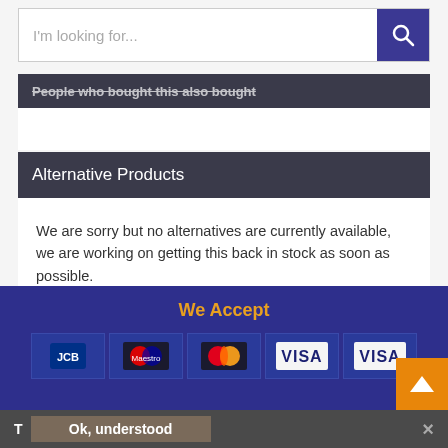[Figure (screenshot): Search bar with 'I'm looking for...' placeholder text and blue search button with magnifying glass icon]
People who bought this also bought
Alternative Products
We are sorry but no alternatives are currently available, we are working on getting this back in stock as soon as possible.
We Accept [JCB, Maestro, MasterCard, VISA, VISA]
T  Ok, understood  ×